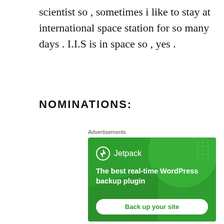scientist so , sometimes i like to stay at international space station for so many days . I.I.S is in space so , yes .
NOMINATIONS:
Advertisements
[Figure (other): Jetpack advertisement banner with green background. Shows Jetpack logo (lightning bolt icon) and text 'The best real-time WordPress backup plugin' with a 'Back up your site' button.]